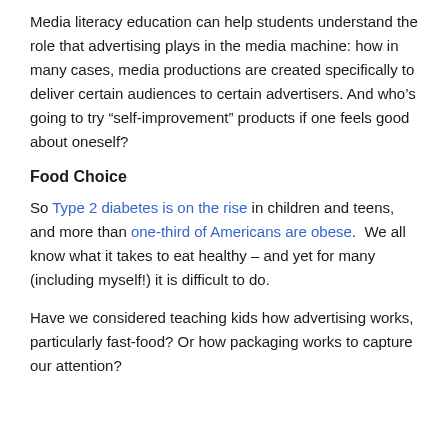Media literacy education can help students understand the role that advertising plays in the media machine: how in many cases, media productions are created specifically to deliver certain audiences to certain advertisers. And who's going to try “self-improvement” products if one feels good about oneself?
Food Choice
So Type 2 diabetes is on the rise in children and teens, and more than one-third of Americans are obese. We all know what it takes to eat healthy – and yet for many (including myself!) it is difficult to do.
Have we considered teaching kids how advertising works, particularly fast-food? Or how packaging works to capture our attention?